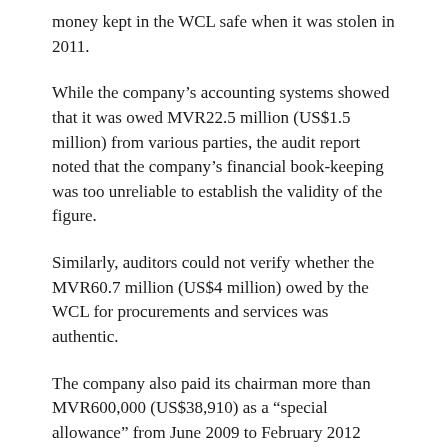money kept in the WCL safe when it was stolen in 2011.
While the company's accounting systems showed that it was owed MVR22.5 million (US$1.5 million) from various parties, the audit report noted that the company's financial book-keeping was too unreliable to establish the validity of the figure.
Similarly, auditors could not verify whether the MVR60.7 million (US$4 million) owed by the WCL for procurements and services was authentic.
The company also paid its chairman more than MVR600,000 (US$38,910) as a “special allowance” from June 2009 to February 2012 against the pay scheme for board members of state-owned enterprises.